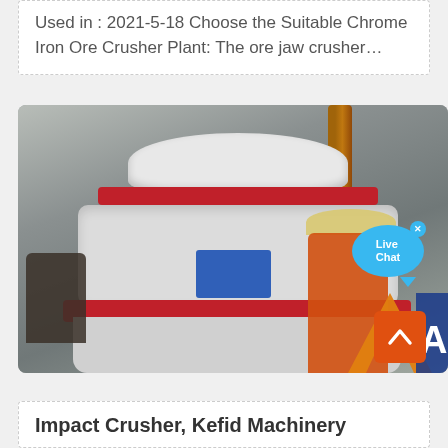Used in : 2021-5-18 Choose the Suitable Chrome Iron Ore Crusher Plant: The ore jaw crusher…
[Figure (photo): Photo of a large white and red cone crusher machine being installed at a mining or construction site. Workers in orange jumpsuits and hard hats are visible. A crane arm is visible in the background. An orange logo 'A' is partially visible at lower right. A blue 'Live Chat' speech bubble overlay appears at upper right, along with an orange scroll-to-top button at lower right.]
Impact Crusher, Kefid Machinery